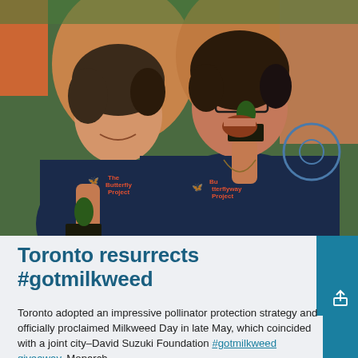[Figure (photo): Two women laughing and smiling, both wearing navy blue 'The Butterflyway Project' t-shirts with a teal butterfly logo, each holding small potted plants (milkweed seedlings in black plastic pots). They are outdoors at what appears to be a community event with people and bicycles visible in the background.]
Toronto resurrects #gotmilkweed
Toronto adopted an impressive pollinator protection strategy and officially proclaimed Milkweed Day in late May, which coincided with a joint city–David Suzuki Foundation #gotmilkweed giveaway. Monarch